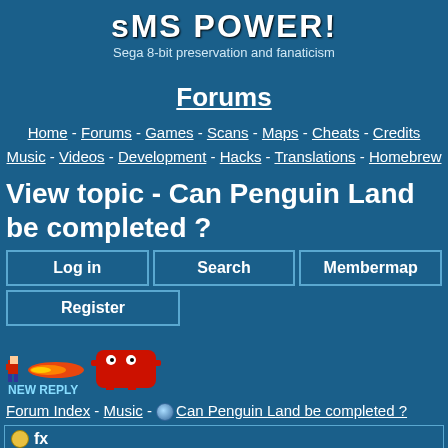sMS POWER!
Sega 8-bit preservation and fanaticism
Forums
Home - Forums - Games - Scans - Maps - Cheats - Credits
Music - Videos - Development - Hacks - Translations - Homebrew
View topic - Can Penguin Land be completed ?
Log in | Search | Membermap | Register
[Figure (illustration): Pixel art sprite animation showing a small character, fire/laser beam, and a red enemy creature with NEW REPLY text below]
Forum Index - Music - Can Penguin Land be completed ?
fx
Can Penguin Land be completed ?
Posted: Sat Sep 22, 2001 4:22 pm
I have ripped the music from Penguin land (not much :/), and was